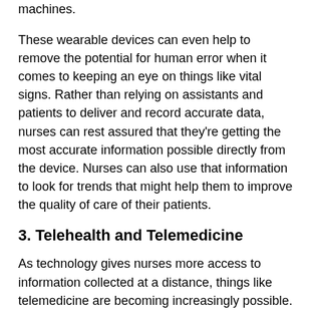machines.
These wearable devices can even help to remove the potential for human error when it comes to keeping an eye on things like vital signs. Rather than relying on assistants and patients to deliver and record accurate data, nurses can rest assured that they're getting the most accurate information possible directly from the device. Nurses can also use that information to look for trends that might help them to improve the quality of care of their patients.
3. Telehealth and Telemedicine
As technology gives nurses more access to information collected at a distance, things like telemedicine are becoming increasingly possible. Hospitals and clinics can allow patients to virtually chat with their nurses from the comfort of their own home. This new telehealth approach will mean that people around the world, including those in remote areas, won't have to compromise on getting the care